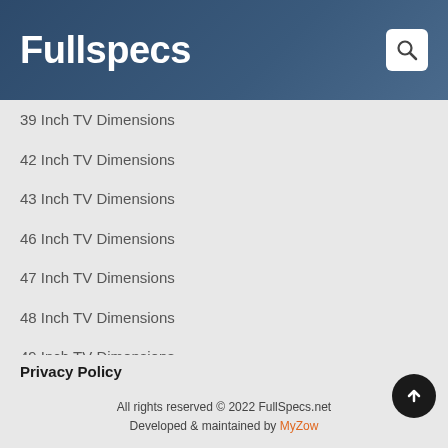Fullspecs
39 Inch TV Dimensions
42 Inch TV Dimensions
43 Inch TV Dimensions
46 Inch TV Dimensions
47 Inch TV Dimensions
48 Inch TV Dimensions
49 Inch TV Dimensions
50 Inch TV Dimensions
14 Inch TV Dimensions
Privacy Policy
Blog
All rights reserved © 2022 FullSpecs.net
Developed & maintained by MyZow